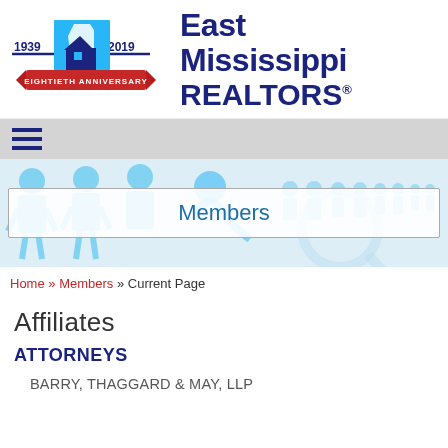[Figure (logo): East Mississippi REALTORS logo with state of Mississippi graphic, 1939-2019 Eightieth Anniversary banner in red]
East Mississippi REALTORS
[Figure (infographic): Navigation hamburger menu icon (three horizontal lines) on gray background]
[Figure (illustration): Hero banner with blue silhouette figures of people and a magnifying glass, with Members search box overlay]
Home » Members » Current Page
Affiliates
ATTORNEYS
BARRY, THAGGARD & MAY, LLP